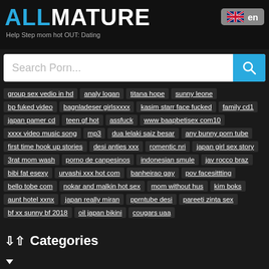ALLMATURE
Help Step mom hot OUT: Dating
Search Porn...
group sex vedio in hd
analy logan
titana hope
sunny leone
bp fuked video
bagnladeser girlsxxxx
kasim starr face fucked
family cd1
japan pamer cd
teen gf hot
assfuck
www baapbetisex com10
xxxx video music song
mp3
dua lelaki saiz besar
any bunny porn tube
first time hook up stories
desi anties xxx
romentic nri
japan girl sex story
3rat mom wash
porno de canpesinos
indonesian smule
jav rocco braz
bibi fat esexy
urvashi xxx hot com
banheirao gay
pov facesittting
bello tobe com
nokar and malkin hot sex
mom without hus
kim boks
aunt hotel xxnx
japan really miran
pprntube desi
pareeti zinta sex
bf xx sunny bf 2018
oil japan bikini
cougars uaa
Categories